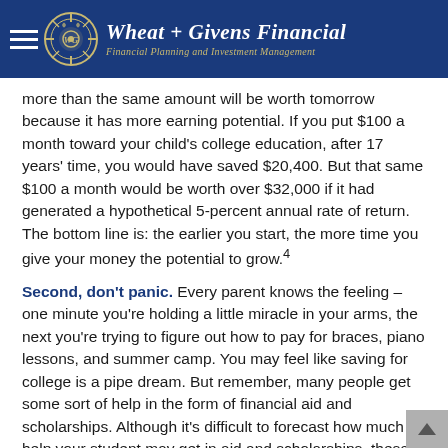Wheat + Givens Financial — Financial Planning and Investment Management
more than the same amount will be worth tomorrow because it has more earning potential. If you put $100 a month toward your child's college education, after 17 years' time, you would have saved $20,400. But that same $100 a month would be worth over $32,000 if it had generated a hypothetical 5-percent annual rate of return. The bottom line is: the earlier you start, the more time you give your money the potential to grow.⁴
Second, don't panic. Every parent knows the feeling – one minute you're holding a little miracle in your arms, the next you're trying to figure out how to pay for braces, piano lessons, and summer camp. You may feel like saving for college is a pipe dream. But remember, many people get some sort of help in the form of financial aid and scholarships. Although it's difficult to forecast how much help your student may get in aid and scholarships, these